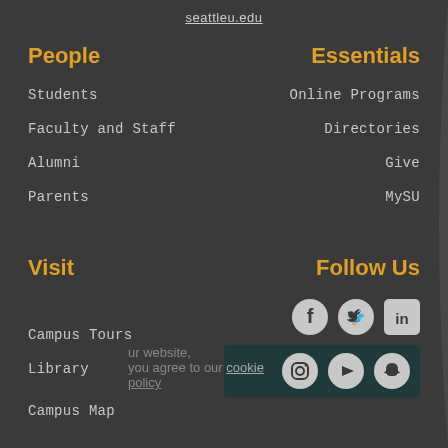seattleu.edu
People
Essentials
Students
Online Programs
Faculty and Staff
Directories
Alumni
Give
Parents
MySU
Visit
Follow Us
[Figure (infographic): Social media icons: Facebook, Twitter, LinkedIn, Instagram, YouTube, Snapchat]
Campus Tours
Library
Campus Map
ur website, you agree to our cookie policy